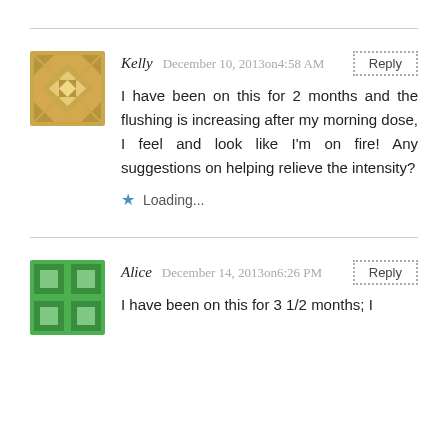Kelly  December 10, 2013on4:58 AM
I have been on this for 2 months and the flushing is increasing after my morning dose, I feel and look like I'm on fire! Any suggestions on helping relieve the intensity?
Loading...
Alice  December 14, 2013on6:26 PM
I have been on this for 3 1/2 months; I